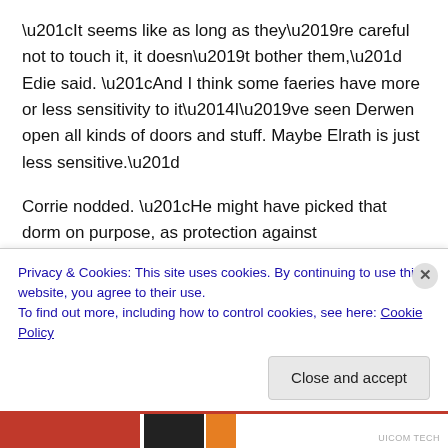“It seems like as long as they’re careful not to touch it, it doesn’t bother them,” Edie said. “And I think some faeries have more or less sensitivity to it—I’ve seen Derwen open all kinds of doors and stuff. Maybe Elrath is just less sensitive.”
Corrie nodded. “He might have picked that dorm on purpose, as protection against faeries.”
“That does sound like him,” Edie turned back to her desk
Privacy & Cookies: This site uses cookies. By continuing to use this website, you agree to their use.
To find out more, including how to control cookies, see here: Cookie Policy
Close and accept